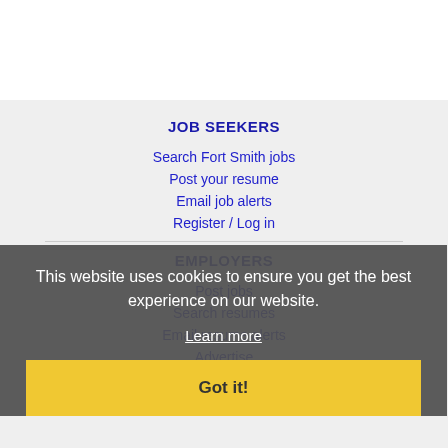JOB SEEKERS
Search Fort Smith jobs
Post your resume
Email job alerts
Register / Log in
EMPLOYERS
Post jobs
Search resumes
Email resume alerts
Advertise
This website uses cookies to ensure you get the best experience on our website.
Learn more
Got it!